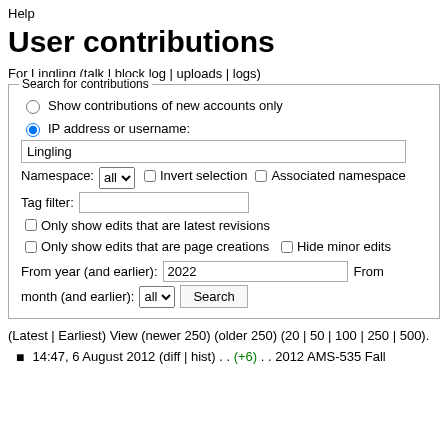Help
User contributions
For Lingling (talk | block log | uploads | logs)
Search for contributions form with options: Show contributions of new accounts only, IP address or username: Lingling, Namespace: all, Invert selection, Associated namespace, Tag filter, Only show edits that are latest revisions, Only show edits that are page creations, Hide minor edits, From year (and earlier): 2022, From month (and earlier): all, Search button
(Latest | Earliest) View (newer 250) (older 250) (20 | 50 | 100 | 250 | 500).
14:47, 6 August 2012 (diff | hist) . . (+6) . . 2012 AMS-535 Fall